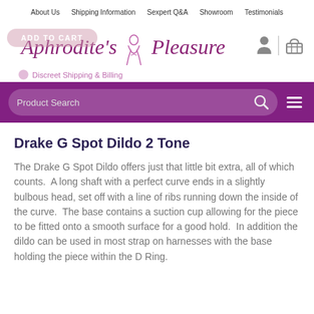About Us  Shipping Information  Sexpert Q&A  Showroom  Testimonials
[Figure (logo): Aphrodite's Pleasure script logo with female figure illustration in purple/pink, ADD TO CART button overlay, person and basket icons, Discreet Shipping & Billing tagline]
[Figure (screenshot): Purple search bar with Product Search placeholder text, search icon, and hamburger menu icon]
Drake G Spot Dildo 2 Tone
The Drake G Spot Dildo offers just that little bit extra, all of which counts.  A long shaft with a perfect curve ends in a slightly bulbous head, set off with a line of ribs running down the inside of the curve.  The base contains a suction cup allowing for the piece to be fitted onto a smooth surface for a good hold.  In addition the dildo can be used in most strap on harnesses with the base holding the piece within the D Ring.